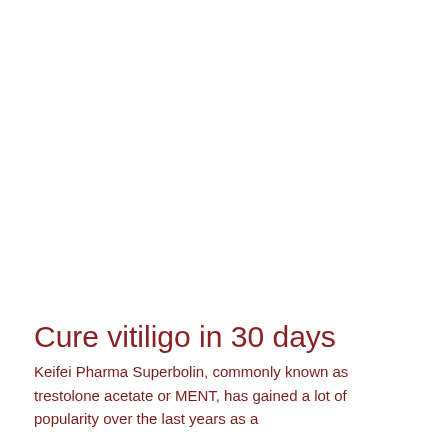Cure vitiligo in 30 days
Keifei Pharma Superbolin, commonly known as trestolone acetate or MENT, has gained a lot of popularity over the last years as a